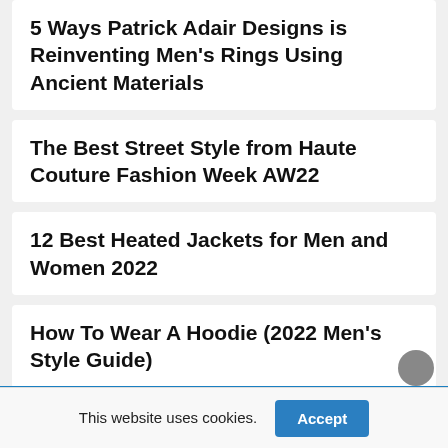5 Ways Patrick Adair Designs is Reinventing Men's Rings Using Ancient Materials
The Best Street Style from Haute Couture Fashion Week AW22
12 Best Heated Jackets for Men and Women 2022
How To Wear A Hoodie (2022 Men's Style Guide)
This website uses cookies.